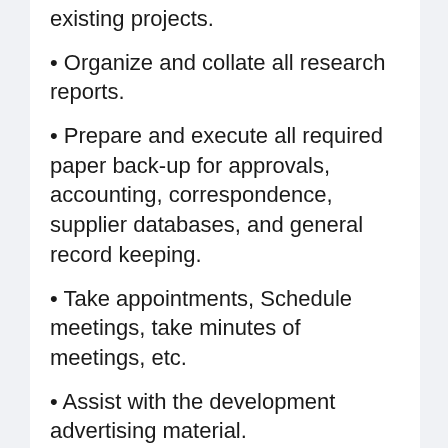existing projects.
• Organize and collate all research reports.
• Prepare and execute all required paper back-up for approvals, accounting, correspondence, supplier databases, and general record keeping.
• Take appointments, Schedule meetings, take minutes of meetings, etc.
• Assist with the development advertising material.
• Support & Co-ordinate the overall company's marketing objectives both